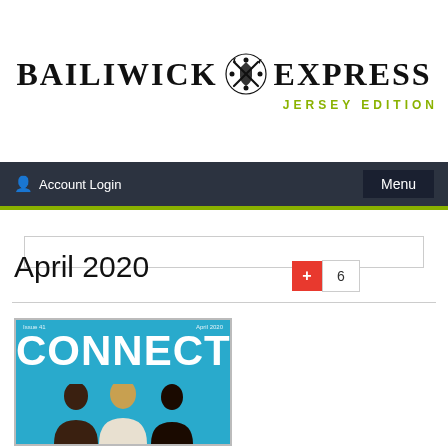[Figure (logo): Bailiwick Express Jersey Edition logo — serif bold text 'BAILIWICK' and 'EXPRESS' flanking a heraldic emblem, with 'JERSEY EDITION' in green letterspaced text below-right]
[Figure (screenshot): Search input box, empty, with light border]
Account Login
Menu
April 2020
+ 6
[Figure (photo): Magazine cover thumbnail showing 'CONNECT' text in white over a teal background, with three women visible at the bottom of the cover]